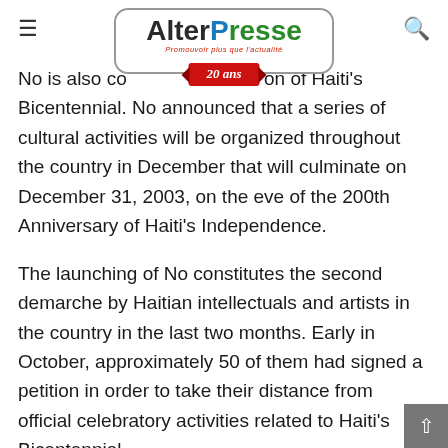AlterPresse 20 ans
No is also co[mmemorating the celebrati]on of Haiti's Bicentennial. No announced that a series of cultural activities will be organized throughout the country in December that will culminate on December 31, 2003, on the eve of the 200th Anniversary of Haiti's Independence.
The launching of No constitutes the second demarche by Haitian intellectuals and artists in the country in the last two months. Early in October, approximately 50 of them had signed a petition in order to take their distance from official celebratory activities related to Haiti's Bicentennial.